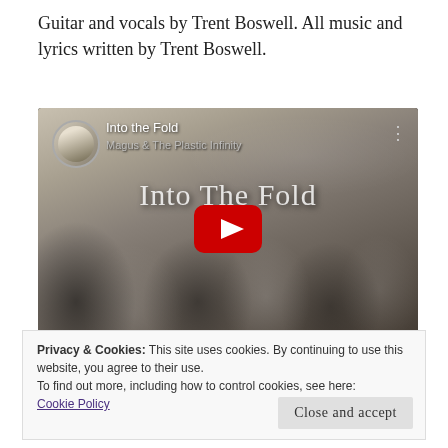Guitar and vocals by Trent Boswell. All music and lyrics written by Trent Boswell.
[Figure (screenshot): YouTube video thumbnail for 'Into the Fold' by Magus & The Plastic Infinity, showing a black and white vintage crowd scene with a red YouTube play button in the center. A circular avatar of the artist is in the top-left, and the video title text overlays the image.]
Privacy & Cookies: This site uses cookies. By continuing to use this website, you agree to their use.
To find out more, including how to control cookies, see here:
Cookie Policy
Close and accept